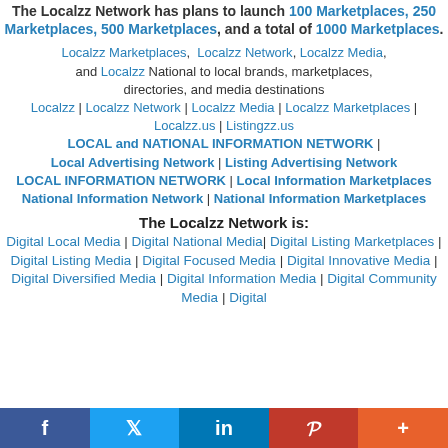The Localzz Network has plans to launch 100 Marketplaces, 250 Marketplaces, 500 Marketplaces, and a total of 1000 Marketplaces.
Localzz Marketplaces, Localzz Network, Localzz Media, and Localzz National to local brands, marketplaces, directories, and media destinations
Localzz | Localzz Network | Localzz Media | Localzz Marketplaces | Localzz.us | Listingzz.us
LOCAL and NATIONAL INFORMATION NETWORK | Local Advertising Network | Listing Advertising Network
LOCAL INFORMATION NETWORK | Local Information Marketplaces
National Information Network | National Information Marketplaces
The Localzz Network is:
Digital Local Media | Digital National Media | Digital Listing Marketplaces | Digital Listing Media | Digital Focused Media | Digital Innovative Media | Digital Diversified Media | Digital Information Media | Digital Community Media | Digital
f  Twitter  in  Pinterest  +